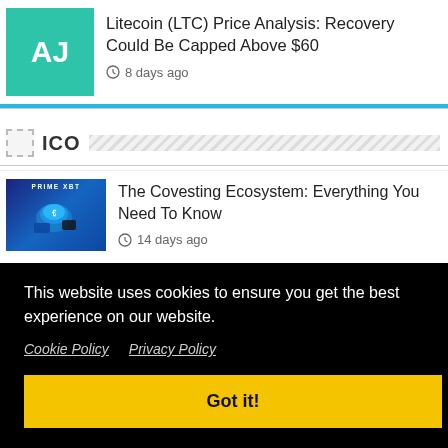[Figure (illustration): Teal/green square avatar with white letters AJ]
Litecoin (LTC) Price Analysis: Recovery Could Be Capped Above $60
8 days ago
ICO
[Figure (illustration): Blue-themed crypto image with coins and cards for Covesting / Prime XBT article thumbnail]
The Covesting Ecosystem: Everything You Need To Know
14 days ago
This website uses cookies to ensure you get the best experience on our website.
Cookie Policy    Privacy Policy
Got it!